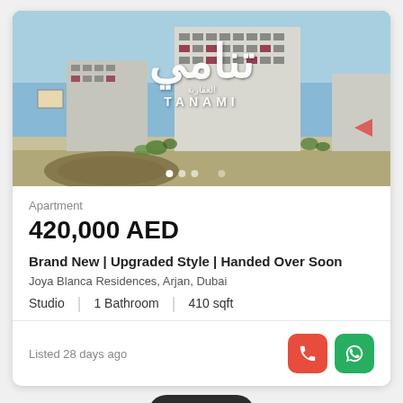[Figure (photo): Building exterior photo with TANAMI real estate logo watermark overlaid. Modern multi-story apartment building with roundabout in foreground.]
Apartment
420,000 AED
Brand New | Upgraded Style | Handed Over Soon
Joya Blanca Residences, Arjan, Dubai
Studio | 1 Bathroom | 410 sqft
Listed 28 days ago
[Figure (screenshot): Map pill button overlay and second property card with VERIFIED badge, heart and more options buttons visible at bottom.]